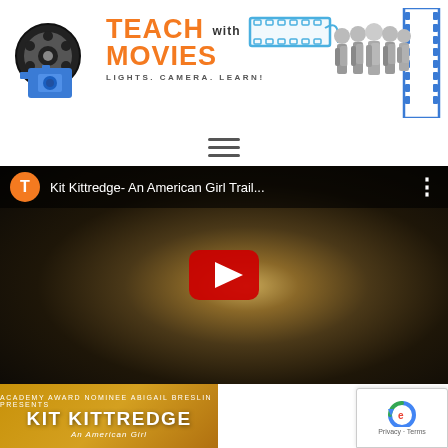[Figure (logo): Teach With Movies logo featuring a film reel, blue movie camera, orange text 'TEACH with MOVIES', tagline 'LIGHTS. CAMERA. LEARN!', film strip and students illustration on the right]
[Figure (other): Hamburger menu icon (three horizontal lines)]
[Figure (screenshot): YouTube video embed showing 'Kit Kittredge- An American Girl Trail...' with orange avatar circle with T, dark movie still thumbnail with red YouTube play button]
[Figure (photo): Kit Kittredge movie poster strip at bottom showing 'KIT KITTREDGE' title on golden/amber background with tagline text 'An American Girl']
[Figure (other): Google reCAPTCHA badge in bottom right corner showing reCAPTCHA logo and 'Privacy - Terms' text]